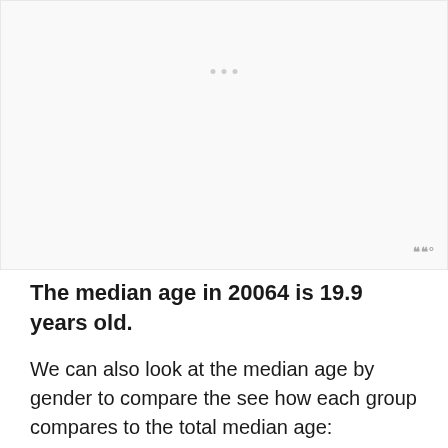[Figure (other): Placeholder chart area with light gray background and a small watermark icon in the bottom right corner]
The median age in 20064 is 19.9 years old.
We can also look at the median age by gender to compare the see how each group compares to the total median age: